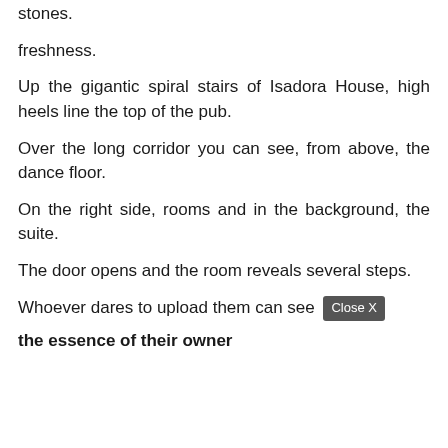stones.
freshness.
Up the gigantic spiral stairs of Isadora House, high heels line the top of the pub.
Over the long corridor you can see, from above, the dance floor.
On the right side, rooms and in the background, the suite.
The door opens and the room reveals several steps.
Whoever dares to upload them can see
the essence of their owner